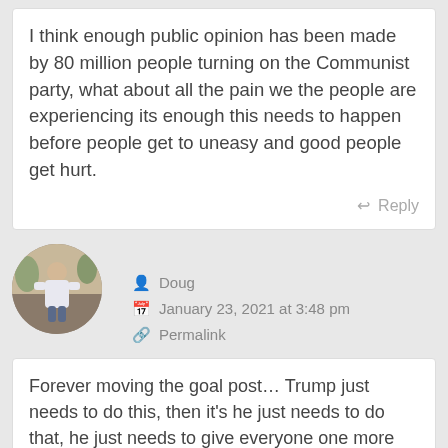I think enough public opinion has been made by 80 million people turning on the Communist party, what about all the pain we the people are experiencing its enough this needs to happen before people get to uneasy and good people get hurt.
Reply
[Figure (photo): Circular avatar photo of a man in a white shirt outdoors]
Doug
January 23, 2021 at 3:48 pm
Permalink
Forever moving the goal post… Trump just needs to do this, then it's he just needs to do that, he just needs to give everyone one more shot, and